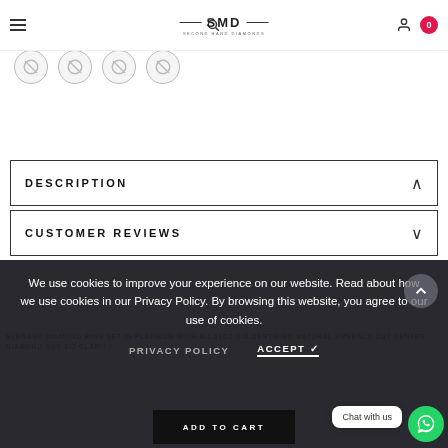SHD Second Hand Diamonds – navigation header with hamburger menu, search, logo, user icon, cart (0)
[Figure (screenshot): Row of four circular placeholder thumbnail images with broken-image icons]
DESCRIPTION
CUSTOMER REVIEWS
We use cookies to improve your experience on our website. Read about how we use cookies in our Privacy Policy. By browsing this website, you agree to our use of cookies.
ELEGANT DIAMOND RING SET IN PLATINUM WITH A 1.01CT GIA CERTIFIED NATURAL EMERALD CUT CENTRE DIAMOND ONE SI2 CLARITY
ADD TO CART
Chat with us